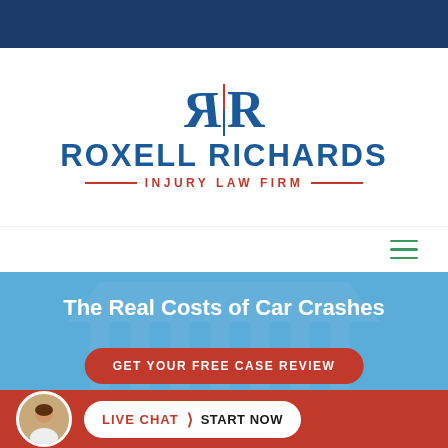[Figure (logo): Roxell Richards Injury Law Firm logo with mirrored R|R monogram in blue, red divider line, firm name in blue, and 'INJURY LAW FIRM' subtitle in red with decorative lines]
[Figure (screenshot): Hamburger menu icon (three horizontal green lines) in top right navigation bar]
The Real Costs of Car Crashes
[Figure (other): Red rounded rectangle button with white text: GET YOUR FREE CASE REVIEW]
[Figure (other): White rounded rectangle button at bottom with red 'LIVE CHAT' text, arrow symbol, and bold 'START NOW' text, alongside circular headshot photo of a woman on red footer bar]